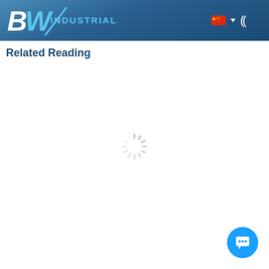BW INDUSTRIAL
Related Reading
[Figure (other): Loading spinner animation (circular dashed spinner) indicating content is loading]
[Figure (other): Chat button widget — blue circle with white chat bubble icon in bottom right corner]